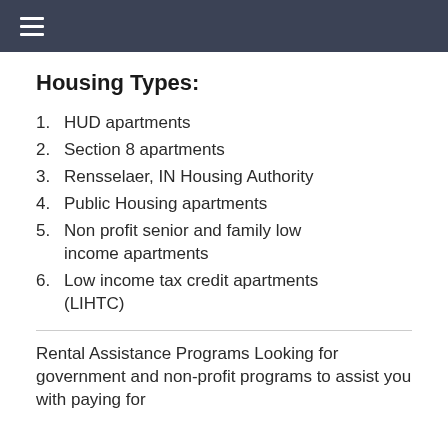≡
Housing Types:
1. HUD apartments
2. Section 8 apartments
3. Rensselaer, IN Housing Authority
4. Public Housing apartments
5. Non profit senior and family low income apartments
6. Low income tax credit apartments (LIHTC)
Rental Assistance Programs Looking for government and non-profit programs to assist you with paying for